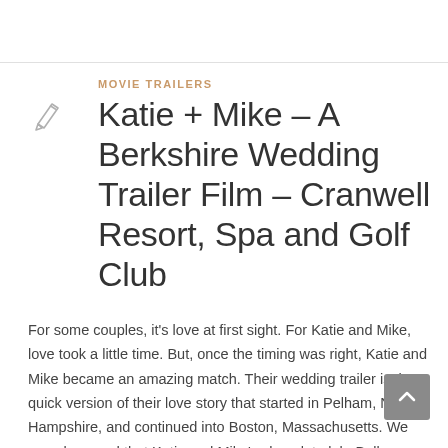MOVIE TRAILERS
Katie + Mike – A Berkshire Wedding Trailer Film – Cranwell Resort, Spa and Golf Club
For some couples, it's love at first sight. For Katie and Mike, love took a little time. But, once the timing was right, Katie and Mike became an amazing match. Their wedding trailer is the quick version of their love story that started in Pelham, New Hampshire, and continued into Boston, Massachusetts. We were bummed that Katie and Mike's chocolate lab, Bella, wasn't able to be a part of the day. But, no worries, we found a way to include her in their upcoming feature film.